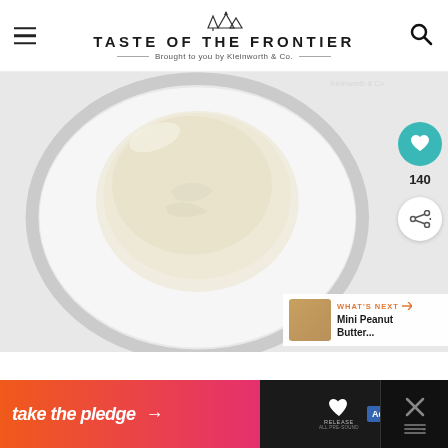TASTE OF THE FRONTIER — Brought to you by Kleinworth & Co.
[Figure (photo): A glass mixing bowl photographed from above containing a mound of white/cream colored dough or mixture on a white background. A teal heart button showing 140 likes and a share button are overlaid on the right side. A 'WHAT'S NEXT' card for 'Mini Peanut Butter...' is shown at the bottom right.]
[Figure (infographic): Orange to pink gradient advertisement banner reading 'take the pledge —>' with Release and ad badges on the right side, and an X close button]